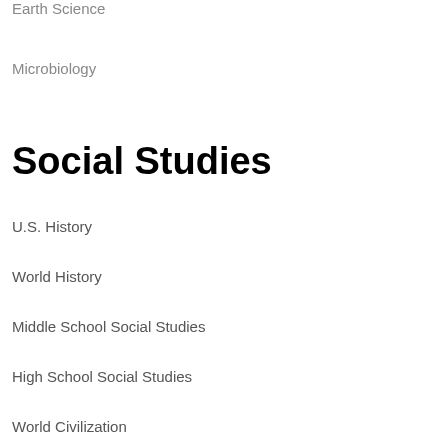Earth Science
Microbiology
Social Studies
U.S. History
World History
Middle School Social Studies
High School Social Studies
World Civilization